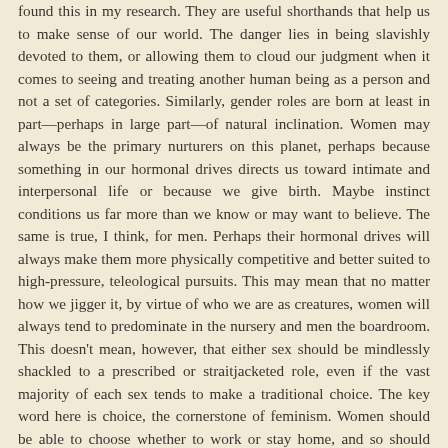found this in my research. They are useful shorthands that help us to make sense of our world. The danger lies in being slavishly devoted to them, or allowing them to cloud our judgment when it comes to seeing and treating another human being as a person and not a set of categories. Similarly, gender roles are born at least in part—perhaps in large part—of natural inclination. Women may always be the primary nurturers on this planet, perhaps because something in our hormonal drives directs us toward intimate and interpersonal life or because we give birth. Maybe instinct conditions us far more than we know or may want to believe. The same is true, I think, for men. Perhaps their hormonal drives will always make them more physically competitive and better suited to high-pressure, teleological pursuits. This may mean that no matter how we jigger it, by virtue of who we are as creatures, women will always tend to predominate in the nursery and men the boardroom. This doesn't mean, however, that either sex should be mindlessly shackled to a prescribed or straitjacketed role, even if the vast majority of each sex tends to make a traditional choice. The key word here is choice, the cornerstone of feminism. Women should be able to choose whether to work or stay home, and so should men. Breaking free of stereotypes means being true to yourself and being flexible within your choices. You can, after all, be a stay-at-home mother and not be...